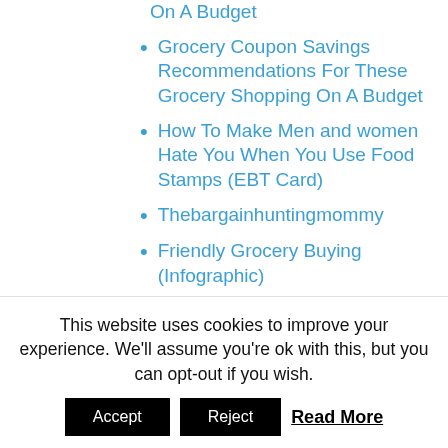On A Budget
Grocery Coupon Savings Recommendations For These Grocery Shopping On A Budget
How To Make Men and women Hate You When You Use Food Stamps (EBT Card)
Thebargainhuntingmommy
Friendly Grocery Buying (Infographic)
How To Grocery Shop And Cook Frugally (With Pictures)
Friendly Grocery List
How I Grocery Shop
This website uses cookies to improve your experience. We'll assume you're ok with this, but you can opt-out if you wish.
Accept | Reject | Read More